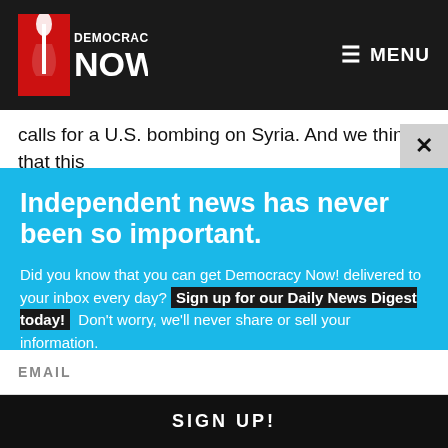[Figure (logo): Democracy Now! logo - red torch/statue of liberty icon with red text DEMOCRACY NOW! on dark background]
MENU
calls for a U.S. bombing on Syria. And we think that this
Independent news has never been so important.
Did you know that you can get Democracy Now! delivered to your inbox every day? Sign up for our Daily News Digest today! Don't worry, we'll never share or sell your information.
EMAIL
SIGN UP!